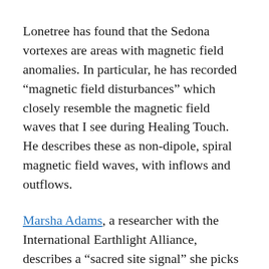Lonetree has found that the Sedona vortexes are areas with magnetic field anomalies. In particular, he has recorded “magnetic field disturbances” which closely resemble the magnetic field waves that I see during Healing Touch. He describes these as non-dipole, spiral magnetic field waves, with inflows and outflows.
Marsha Adams, a researcher with the International Earthlight Alliance, describes a “sacred site signal” she picks up with her magnetometer at Native American sacred sites, at Sedona, and in crop circles. The sacred site signal is similar to the signal recorded by